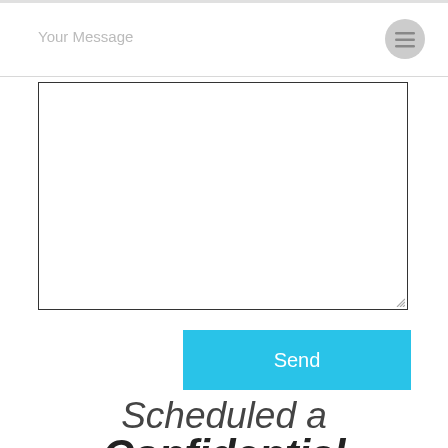Your Message
[Figure (screenshot): Empty text area input box with resize handle in bottom-right corner]
[Figure (other): Blue Send button]
Scheduled a Confidential